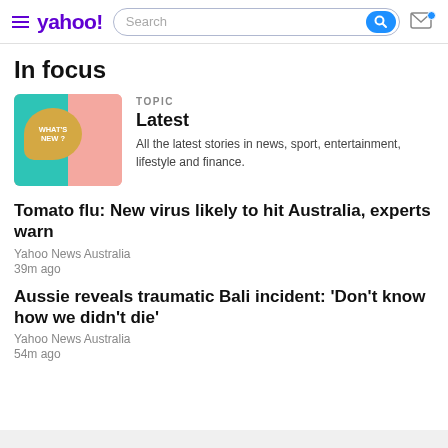yahoo! [search bar] [mail icon]
In focus
[Figure (illustration): Image of hands holding a speech bubble sign reading WHAT'S NEW? on a teal and pink background]
TOPIC
Latest
All the latest stories in news, sport, entertainment, lifestyle and finance.
Tomato flu: New virus likely to hit Australia, experts warn
Yahoo News Australia
39m ago
Aussie reveals traumatic Bali incident: 'Don't know how we didn't die'
Yahoo News Australia
54m ago